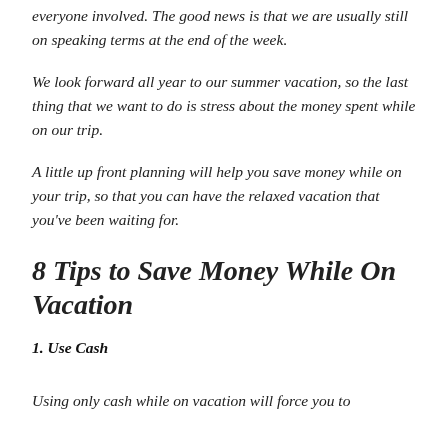everyone involved. The good news is that we are usually still on speaking terms at the end of the week.
We look forward all year to our summer vacation, so the last thing that we want to do is stress about the money spent while on our trip.
A little up front planning will help you save money while on your trip, so that you can have the relaxed vacation that you've been waiting for.
8 Tips to Save Money While On Vacation
1. Use Cash
Using only cash while on vacation will force you to